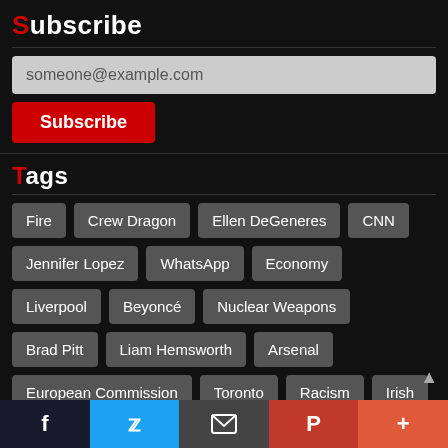Subscribe
someone@example.com
Subscribe
Tags
Fire
Crew Dragon
Ellen DeGeneres
CNN
Jennifer Lopez
WhatsApp
Economy
Liverpool
Beyoncé
Nuclear Weapons
Brad Pitt
Liam Hemsworth
Arsenal
European Commission
Toronto
Racism
Irish
LeBron James